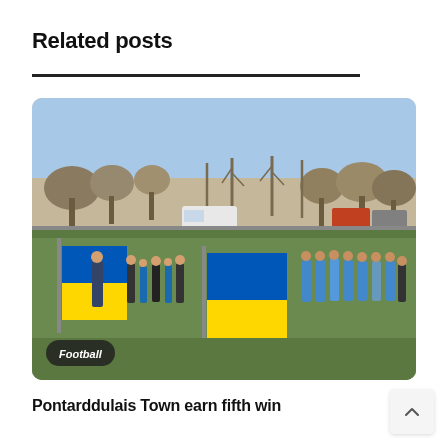Related posts
[Figure (photo): Football teams lined up on a grass pitch with Ukrainian flags being waved in the centre. Players in blue and black-and-white kits stand in a line. Bare winter trees and parked cars visible in the background under a blue sky. A 'Football' badge appears in the bottom left corner of the image.]
Pontarddulais Town earn fifth win